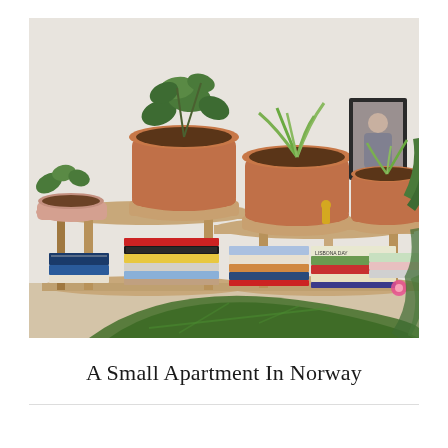[Figure (photo): Interior photograph of a wooden shelving unit with multiple tiers. The top shelf holds several terracotta pots with green plants including a jade plant and other houseplants, along with framed pictures leaning against the wall. The lower shelves are stacked with many books and magazines in various colors. A large blurred green leaf is visible in the foreground bottom. The shelving unit has a light oak finish with slender vertical legs.]
A Small Apartment In Norway